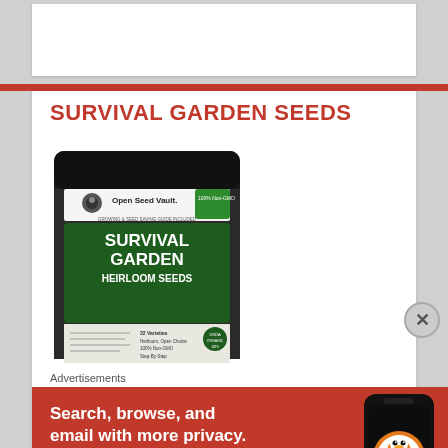SURVIVAL GARDEN SEEDS
[Figure (photo): Product image of Open Seed Vault Survival Garden Heirloom Seeds black resealable bag with green label]
Advertisements
[Figure (infographic): DuckDuckGo advertisement banner: Search, browse, and email with more privacy. All in One Free App. Shows a smartphone with DuckDuckGo logo.]